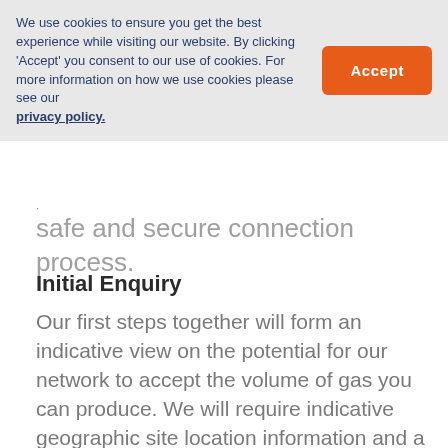We use cookies to ensure you get the best experience while visiting our website. By clicking 'Accept' you consent to our use of cookies. For more information on how we use cookies please see our privacy policy.
safe and secure connection process.
Initial Enquiry
Our first steps together will form an indicative view on the potential for our network to accept the volume of gas you can produce. We will require indicative geographic site location information and a high-level indication of the potential injection rate in standard cubic metres per hour. This enquiry service is provided free of charge and will return results within 15 working days.